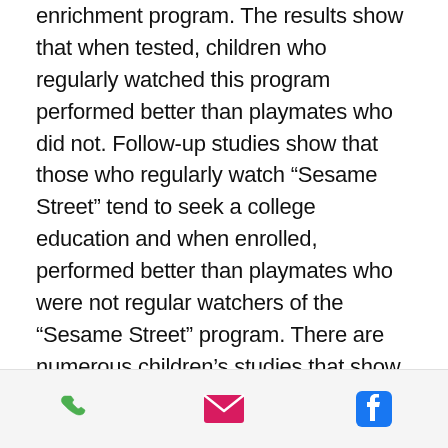enrichment program. The results show that when tested, children who regularly watched this program performed better than playmates who did not. Follow-up studies show that those who regularly watch “Sesame Street” tend to seek a college education and when enrolled, performed better than playmates who were not regular watchers of the “Sesame Street” program. There are numerous children’s studies that show the benefits of enrichment techniques and programs. Most focus on improving self-esteem and self-talk. Follow-up studies show that the enriched “Sesame Street” students, when later tested were brighter and scored above
[phone icon] [email icon] [facebook icon]